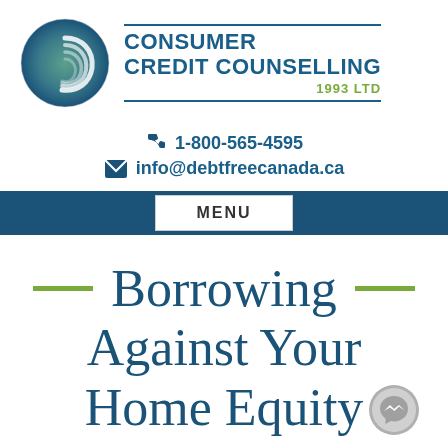[Figure (logo): Consumer Credit Counselling 1993 Ltd logo — circular swirl icon in blue-green gradient with company name in dark blue and year in olive green]
1-800-565-4595
info@debtfreecanada.ca
MENU
Borrowing Against Your Home Equity